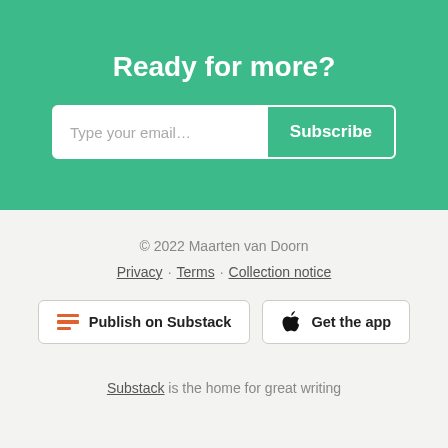Ready for more?
Type your email... Subscribe
© 2022 Maarten van Doorn
Privacy · Terms · Collection notice
Publish on Substack
Get the app
Substack is the home for great writing